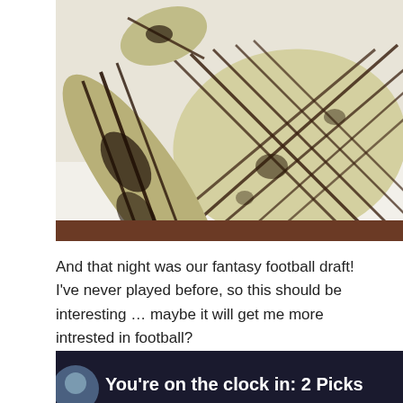[Figure (photo): Close-up photo of grilled eggplant slices on a white plate, showing dark grill marks in a crosshatch pattern on pale yellow-green flesh]
And that night was our fantasy football draft! I've never played before, so this should be interesting … maybe it will get me more intrested in football?
[Figure (screenshot): Bottom portion of a screenshot showing text 'You're on the clock in: 2 Picks' in bold white text on dark background, with a partial circular avatar on the left]